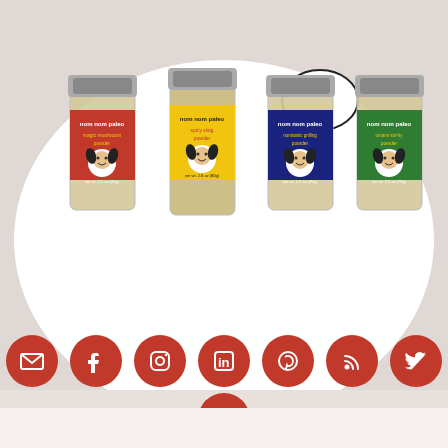[Figure (photo): Four nom nom paleo spice powder jars with colorful labels (red, yellow, blue, green) displayed on a white circular background. Labels read: magic mushroom powder, spicy sisig powder, nomtastic grilling powder, umami stir-fry powder.]
[Figure (infographic): Row of 7 red circular social media icon buttons: email, facebook, instagram, linkedin, pinterest, rss, twitter. Below: one red circular youtube icon button.]